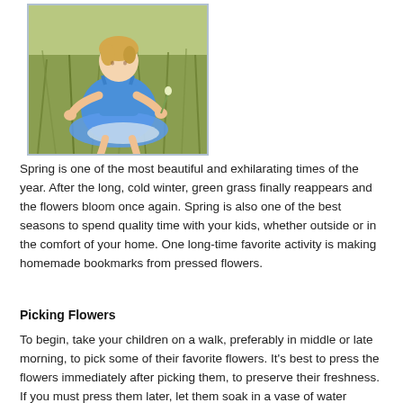[Figure (photo): A young girl in a blue dress crouching in a grassy field, picking or examining flowers/plants.]
Spring is one of the most beautiful and exhilarating times of the year. After the long, cold winter, green grass finally reappears and the flowers bloom once again. Spring is also one of the best seasons to spend quality time with your kids, whether outside or in the comfort of your home. One long-time favorite activity is making homemade bookmarks from pressed flowers.
Picking Flowers
To begin, take your children on a walk, preferably in middle or late morning, to pick some of their favorite flowers. It's best to press the flowers immediately after picking them, to preserve their freshness. If you must press them later, let them soak in a vase of water overnight before creating the homemade bookmark.